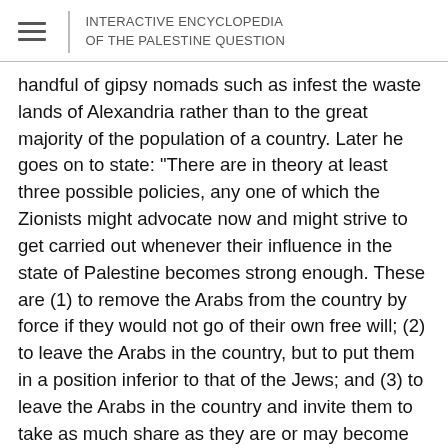INTERACTIVE ENCYCLOPEDIA OF THE PALESTINE QUESTION
handful of gipsy nomads such as infest the waste lands of Alexandria rather than to the great majority of the population of a country. Later he goes on to state: "There are in theory at least three possible policies, any one of which the Zionists might advocate now and might strive to get carried out whenever their influence in the state of Palestine becomes strong enough. These are (1) to remove the Arabs from the country by force if they would not go of their own free will; (2) to leave the Arabs in the country, but to put them in a position inferior to that of the Jews; and (3) to leave the Arabs in the country and invite them to take as much share as they are or may become capable of taking in its development, making no distinction between Jew and Arab from the point of view of political or economic rights."
It is hardly important that Mr. Simon ultimately accepted